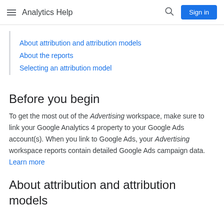Analytics Help
About attribution and attribution models
About the reports
Selecting an attribution model
Before you begin
To get the most out of the Advertising workspace, make sure to link your Google Analytics 4 property to your Google Ads account(s). When you link to Google Ads, your Advertising workspace reports contain detailed Google Ads campaign data. Learn more
About attribution and attribution models